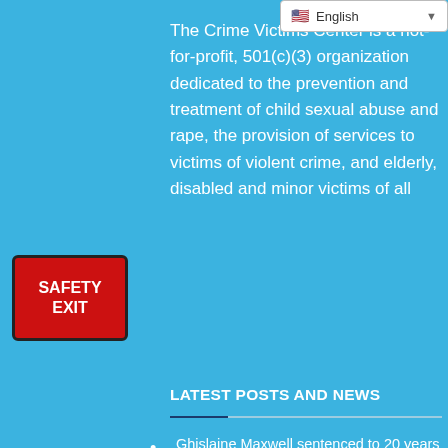[Figure (screenshot): Language selector dropdown showing English with US flag]
The Crime Victims Center is a not-for-profit, 501(c)(3) organization dedicated to the prevention and treatment of child sexual abuse and rape, the provision of services to victims of violent crime, and elderly, disabled and minor victims of all
[Figure (other): Red SAFETY EXIT button]
LATEST POSTS AND NEWS
Ghislaine Maxwell sentenced to 20 years in Epstein sex abuse case - July 8, 2022
Police: Norwood day care worker arrested for child pornography; 12-year-old victim attended facility - July 8, 2022
Man wanted for questioning for sexual